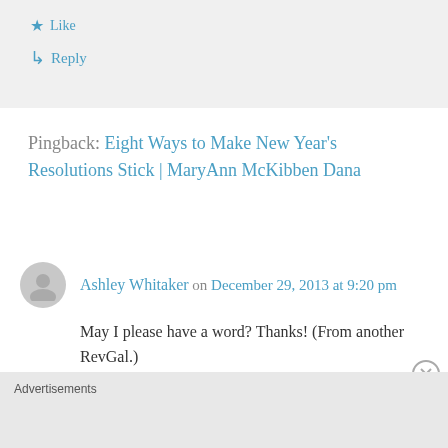Like
Reply
Pingback: Eight Ways to Make New Year's Resolutions Stick | MaryAnn McKibben Dana
Ashley Whitaker on December 29, 2013 at 9:20 pm
May I please have a word? Thanks! (From another RevGal.)
Like
Advertisements